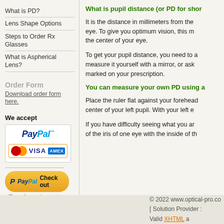What is PD?
Lens Shape Options
Steps to Order Rx Glasses
What is Aspherical Lens?
Order Form
Download order form here.
We accept
[Figure (logo): PayPal payment accepted logo with MasterCard, VISA, and American Express cards, and PayPal Check out button]
What is pupil distance (or PD for shor
It is the distance in millimeters from the eye. To give you optimum vision, this m the center of your eye.
To get your pupil distance, you need to a measure it yourself with a mirror, or ask marked on your prescription.
You can measure your own PD using a
Place the ruler flat against your forehead center of your left pupil. With your left e
If you have difficulty seeing what you ar of the iris of one eye with the inside of th
© 2022 www.optical-pro.co [ Solution Provider : Valid XHTML a